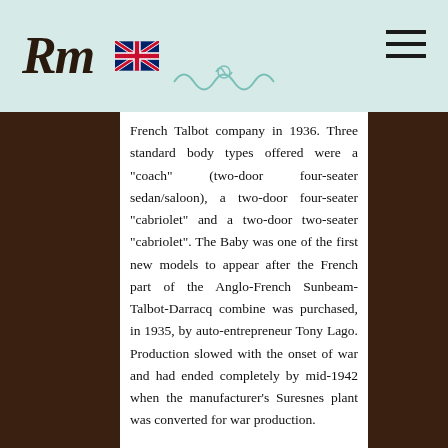RM [logo] [UK flag] [hamburger menu]
French Talbot company in 1936. Three standard body types offered were a "coach" (two-door four-seater sedan/saloon), a two-door four-seater "cabriolet" and a two-door two-seater "cabriolet". The Baby was one of the first new models to appear after the French part of the Anglo-French Sunbeam-Talbot-Darracq combine was purchased, in 1935, by auto-entrepreneur Tony Lago. Production slowed with the onset of war and had ended completely by mid-1942 when the manufacturer's Suresnes plant was converted for war production.
The "Talbot Baby" name was revived in June 1951 for a four-cylinder version of the